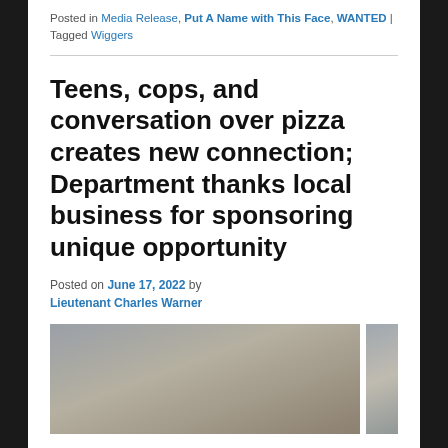Posted in Media Release, Put A Name with This Face, WANTED | Tagged Wiggers
Teens, cops, and conversation over pizza creates new connection; Department thanks local business for sponsoring unique opportunity
Posted on June 17, 2022 by Lieutenant Charles Warner
[Figure (photo): Two photos side by side showing people inside what appears to be a board game or hobby store with shelves of games/products in the background.]